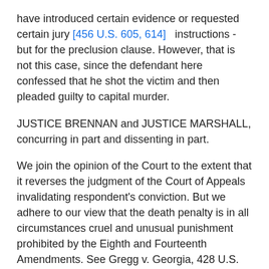have introduced certain evidence or requested certain jury [456 U.S. 605, 614]   instructions - but for the preclusion clause. However, that is not this case, since the defendant here confessed that he shot the victim and then pleaded guilty to capital murder.
JUSTICE BRENNAN and JUSTICE MARSHALL, concurring in part and dissenting in part.
We join the opinion of the Court to the extent that it reverses the judgment of the Court of Appeals invalidating respondent's conviction. But we adhere to our view that the death penalty is in all circumstances cruel and unusual punishment prohibited by the Eighth and Fourteenth Amendments. See Gregg v. Georgia, 428 U.S. 153, 227 (1976) (BRENNAN, J., dissenting); Furman v. Georgia, 408 U.S. 238, 314 (1972) (MARSHALL, J., concurring). Consequently, we would affirm the judgment of the Court of